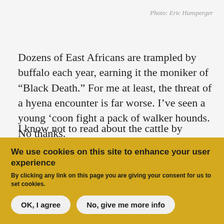Photo: Eric Hunsperger
Dozens of East Africans are trampled by buffalo each year, earning it the moniker of “Black Death.” For me at least, the threat of a hyena encounter is far worse. I’ve seen a young ‘coon fight a pack of walker hounds. No thanks.
I know not to read about the cattle by association
We use cookies on this site to enhance your user experience
By clicking any link on this page you are giving your consent for us to set cookies.
OK, I agree
No, give me more info